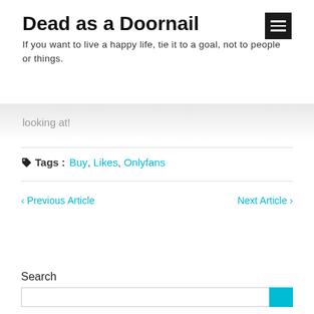Dead as a Doornail
If you want to live a happy life, tie it to a goal, not to people or things.
looking at!
Tags :  Buy,  Likes,  Onlyfans
< Previous Article
Next Article >
Search